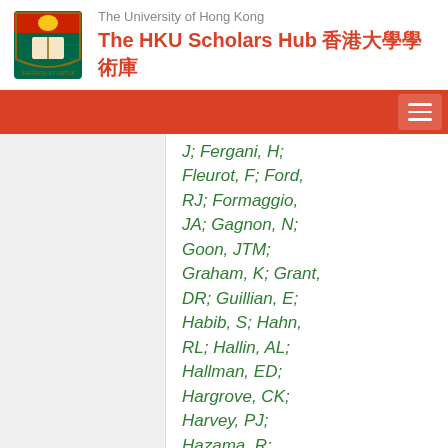The University of Hong Kong — The HKU Scholars Hub 香港大學學術庫
J; Fergani, H; Fleurot, F; Ford, RJ; Formaggio, JA; Gagnon, N; Goon, JTM; Graham, K; Grant, DR; Guillian, E; Habib, S; Hahn, RL; Hallin, AL; Hallman, ED; Hargrove, CK; Harvey, PJ; Hazama, R; Heeger, KM; Heintzelman, WJ; Heise, J; Helmer, RL; Hemingway, RJ; Henning, R;